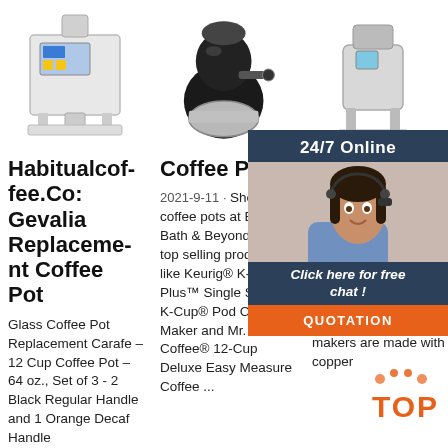[Figure (photo): White automatic powder filling machine with digital display]
[Figure (photo): Black coffee grinder with stainless steel bowl]
[Figure (photo): Small coffee roaster machine]
Habitualcoffee.Co: Gevalia Replacement Coffee Pot
Glass Coffee Pot Replacement Carafe – 12 Cup Coffee Pot – 64 oz., Set of 3 - 2 Black Regular Handle and 1 Orange Decaf Handle
Coffee Pots
2021-9-11 · Shop for coffee pots at Bed Bath & Beyond. Buy top selling products like Keurig® K-Mini Plus™ Single Serve K-Cup® Pod Coffee Maker and Mr. Coffee® 12-Cup Deluxe Easy Measure Coffee ...
Turk Coff - Cez
Turkish Pots. We large s Turkish pots that are made by experienced artisans in Turkey. All of our Turkish coffee makers are made with copper
24/7 Online
Click here for free chat !
QUOTATION